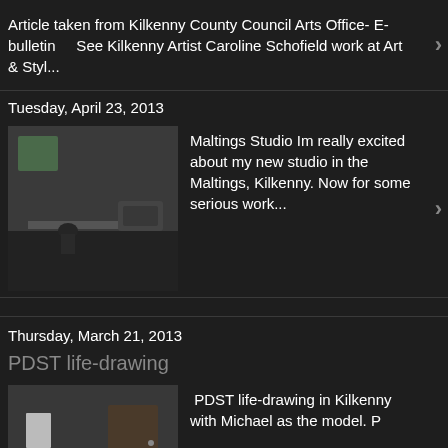Article taken from Kilkenny County Council Arts Office- E-bulletin    See Kilkenny Artist Caroline Schofield work at Art & Styl...
Tuesday, April 23, 2013
[Figure (photo): Interior room photo showing a studio space]
Maltings Studio Im really excited about my new studio in the Maltings, Kilkenny. Now for some serious work...
Thursday, March 21, 2013
PDST life-drawing
[Figure (photo): Photo of people at life drawing class]
PDST life-drawing in Kilkenny with Michael as the model. P
Drawings
[Figure (photo): Charcoal drawing of a face]
Charcoal Drawing Charcoal Drawing